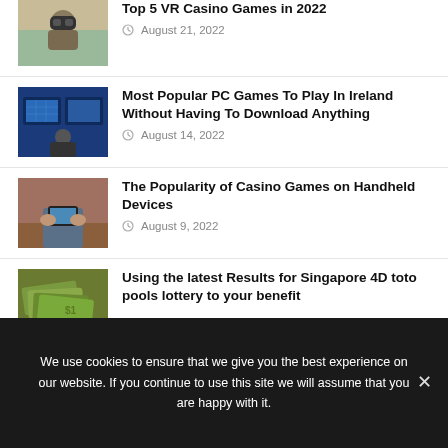[Figure (photo): Person wearing VR headset with plant in background]
Top 5 VR Casino Games in 2022
August 21, 2022
[Figure (photo): Person playing PC games with multiple monitors showing a map game]
Most Popular PC Games To Play In Ireland Without Having To Download Anything
August 14, 2022
[Figure (photo): Person holding a tablet device at a table]
The Popularity of Casino Games on Handheld Devices
August 9, 2022
[Figure (photo): Pile of dollar bills / money]
Using the latest Results for Singapore 4D toto pools lottery to your benefit
We use cookies to ensure that we give you the best experience on our website. If you continue to use this site we will assume that you are happy with it.